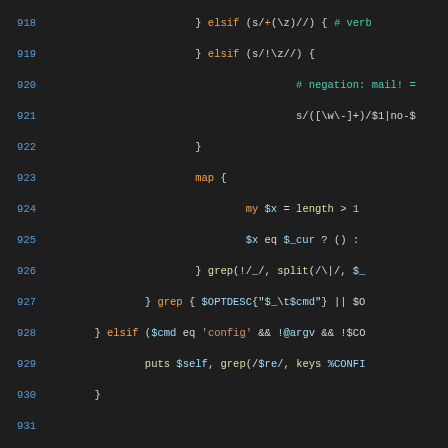[Figure (screenshot): Syntax-highlighted Perl source code, lines 918–947, showing completion logic for switch args, grep/map constructs, lazy_cb, and config handling. Dark background IDE view.]